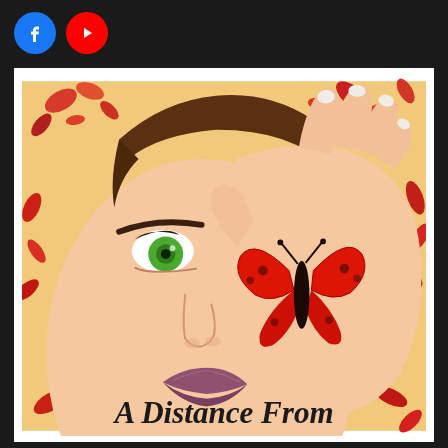[Figure (illustration): Social media icons: Facebook (blue circle with f logo) and YouTube (red circle with play button triangle), placed on dark background header bar]
[Figure (illustration): Book cover illustration showing a young woman with short brown hair and a bright green eye, holding her hand over half her face. A vivid red butterfly rests on her hand. Background has autumn leaves in red and orange tones. Text at bottom reads 'A Distance From']
A Distance From